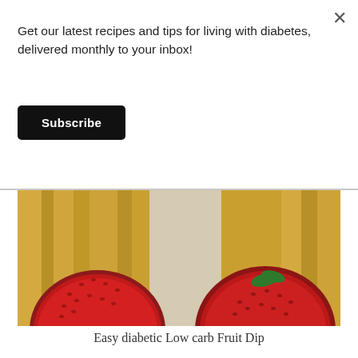Get our latest recipes and tips for living with diabetes, delivered monthly to your inbox!
Subscribe
[Figure (photo): Close-up photo of two strawberries cut in half on a bamboo cutting board with a white cutting board in the background]
Easy diabetic Low carb Fruit Dip
[Figure (screenshot): Advertisement banner with green CONTACT US button and text: Get recommendations on what will be best for your urgent care practice. Ad label shown bottom right.]